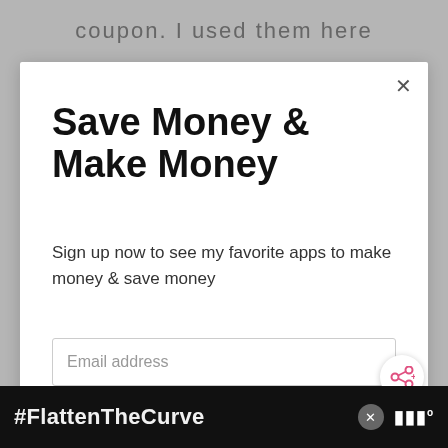coupon. I used them here
Save Money & Make Money
Sign up now to see my favorite apps to make money & save money
Email address
Get It Now
WHAT'S NEXT → How To Remove Wat...
#FlattenTheCurve